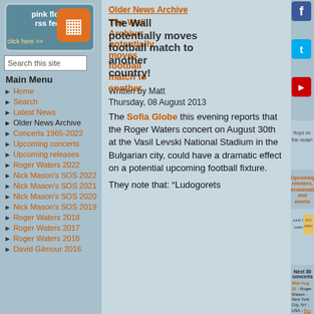[Figure (logo): Pink Floyd RSS feed banner with orange RSS icon]
Search this site
Main Menu
Home
Search
Latest News
Older News Archive
Concerts 1965-2022
Upcoming concerts
Upcoming releases
Roger Waters 2022
Nick Mason's SOS 2022
Nick Mason's SOS 2021
Nick Mason's SOS 2020
Nick Mason's SOS 2019
Roger Waters 2018
Roger Waters 2017
Roger Waters 2016
David Gilmour 2016
Older News Archive
The Wall potentially moves football match to another country!
Written by Matt
Thursday, 08 August 2013
The Sofia Globe this evening reports that the Roger Waters concert on August 30th at the Vasil Levski National Stadium in the Bulgarian city, could have a dramatic effect on a potential upcoming football fixture.
They note that: "Ludogorets
[Figure (logo): Floyd on the radar banner with satellite dish]
Upcoming releases, broadcasts and events
[Figure (logo): Pink Floyd GIG calendar click here banner]
Next 30 concerts
30th Aug 22 - Roger Waters - New York City, NY - USA - Buy Tix
31st Aug 22 - Roger Waters - New York City, NY - USA - Buy Tix
3rd Sep 22 - Roger Waters - Kansas City, MO - USA - Buy Tix
6th Sep 22 - Roger Waters - Denver, CO - USA - Buy Tix
8th Sep 22 - Roger Waters - Salt Lake City, UT - USA - Buy Tix